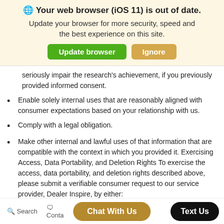[Figure (screenshot): Browser update notification banner with globe icon, bold heading 'Your web browser (iOS 11) is out of date.', subtitle text, and two buttons: green 'Update browser' and tan 'Ignore']
seriously impair the research's achievement, if you previously provided informed consent.
Enable solely internal uses that are reasonably aligned with consumer expectations based on your relationship with us.
Comply with a legal obligation.
Make other internal and lawful uses of that information that are compatible with the context in which you provided it. Exercising Access, Data Portability, and Deletion Rights To exercise the access, data portability, and deletion rights described above, please submit a verifiable consumer request to our service provider, Dealer Inspire, by either:
Emailing Privacy@DealerInspire.com
Contacting Dealer Inspire via telephone at 855.357.4677 and
Search   Contact   Chat With Us   Text Us